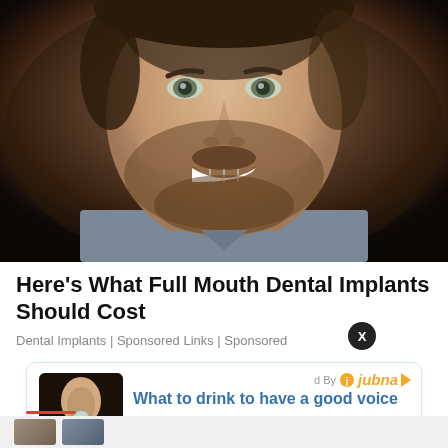[Figure (photo): Close-up photo of a middle-aged man with a beard/stubble smiling, showing white teeth. Dark background.]
Here's What Full Mouth Dental Implants Should Cost
Dental Implants | Sponsored Links | Sponsored
[Figure (photo): Thumbnail of a woman drinking from a glass]
What to drink to have a good voice
13 hours ago
Powered By jubna